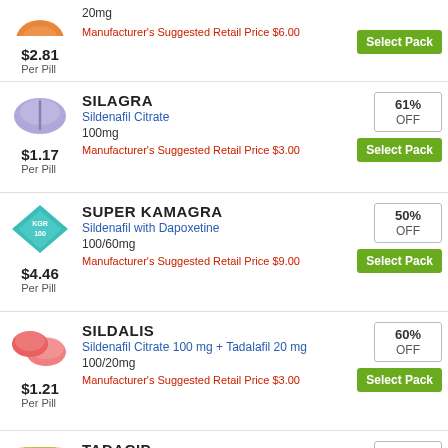[Figure (photo): Orange/gold pill (partial, top cropped) with price $2.81 per pill]
20mg
Manufacturer's Suggested Retail Price $6.00
Select Pack
$2.81
Per Pill
[Figure (photo): Purple/lavender oval pill]
SILAGRA
Sildenafil Citrate
100mg
61% OFF
Manufacturer's Suggested Retail Price $3.00
Select Pack
$1.17
Per Pill
[Figure (photo): Teal/green diamond-shaped pill labeled KGR 100]
SUPER KAMAGRA
Sildenafil with Dapoxetine
100/60mg
50% OFF
Manufacturer's Suggested Retail Price $9.00
Select Pack
$4.46
Per Pill
[Figure (photo): Two pink/salmon round pills]
SILDALIS
Sildenafil Citrate 100 mg + Tadalafil 20 mg
100/20mg
60% OFF
Manufacturer's Suggested Retail Price $3.00
Select Pack
$1.21
Per Pill
[Figure (photo): Gold/tan capsule pill (partially visible at bottom)]
TADACIP
Tadalafil
61%
OFF